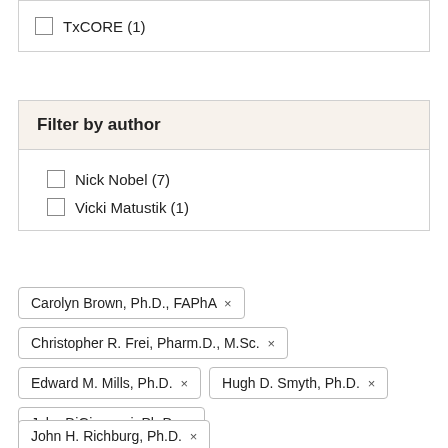TxCORE (1)
Filter by author
Nick Nobel (7)
Vicki Matustik (1)
Carolyn Brown, Ph.D., FAPhA ×
Christopher R. Frei, Pharm.D., M.Sc. ×
Edward M. Mills, Ph.D. ×
Hugh D. Smyth, Ph.D. ×
John DiGiovanni, Ph.D. ×
John H. Richburg, Ph.D. ×